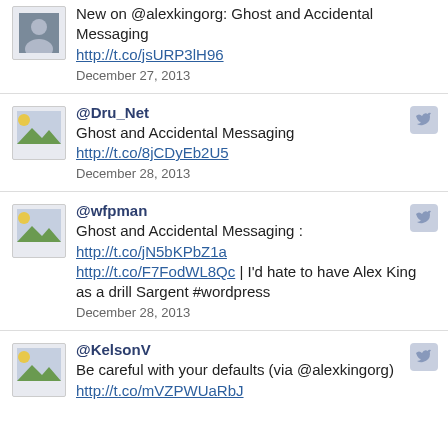New on @alexkingorg: Ghost and Accidental Messaging http://t.co/jsURP3lH96 December 27, 2013
@Dru_Net Ghost and Accidental Messaging http://t.co/8jCDyEb2U5 December 28, 2013
@wfpman Ghost and Accidental Messaging : http://t.co/jN5bKPbZ1a http://t.co/F7FodWL8Qc | I'd hate to have Alex King as a drill Sargent #wordpress December 28, 2013
@KelsonV Be careful with your defaults (via @alexkingorg) http://t.co/mVZPWUaRbJ